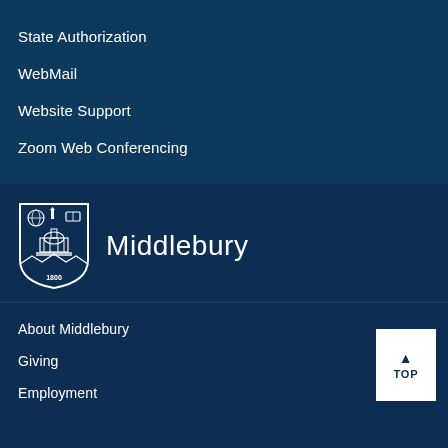State Authorization
WebMail
Website Support
Zoom Web Conferencing
[Figure (logo): Middlebury College shield logo with globe, torch, open book, building, and year 1800, next to the text 'Middlebury']
About Middlebury
Giving
Employment